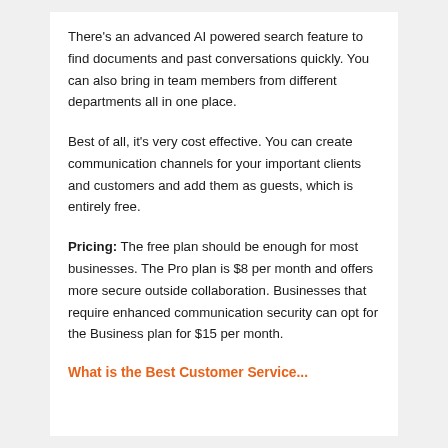There's an advanced AI powered search feature to find documents and past conversations quickly. You can also bring in team members from different departments all in one place.
Best of all, it's very cost effective. You can create communication channels for your important clients and customers and add them as guests, which is entirely free.
Pricing: The free plan should be enough for most businesses. The Pro plan is $8 per month and offers more secure outside collaboration. Businesses that require enhanced communication security can opt for the Business plan for $15 per month.
What is the Best Customer Service...